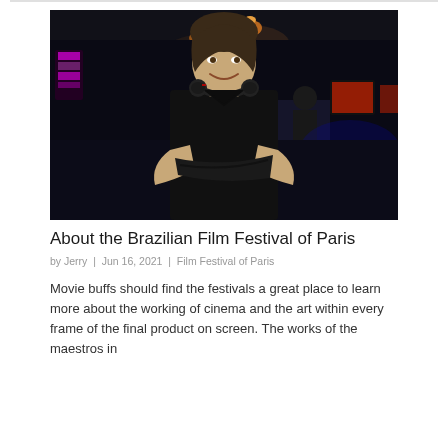[Figure (photo): A young man with dark hair, wearing a black t-shirt and headphones around his neck, standing with arms crossed and smiling. Background shows a dark venue with warm overhead lights and people at computers with glowing screens.]
About the Brazilian Film Festival of Paris
by Jerry  |  Jun 16, 2021  |  Film Festival of Paris
Movie buffs should find the festivals a great place to learn more about the working of cinema and the art within every frame of the final product on screen. The works of the maestros in